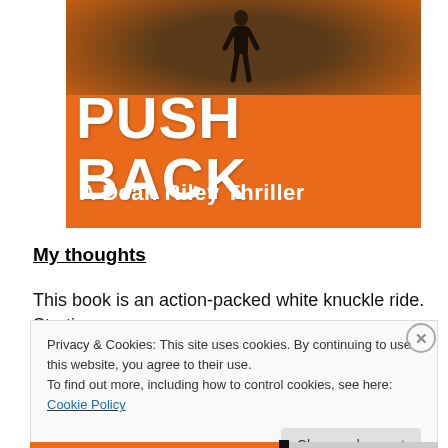[Figure (illustration): Book cover for 'PUSH BACK: A Dean Riley Thriller' with orange background, dark earth/soil tones at top with silhouette of a person standing, large white bold title text 'PUSH BACK' and subtitle 'A Dean Riley Thriller']
My thoughts
This book is an action-packed white knuckle ride. Starting
Privacy & Cookies: This site uses cookies. By continuing to use this website, you agree to their use.
To find out more, including how to control cookies, see here: Cookie Policy
Close and accept